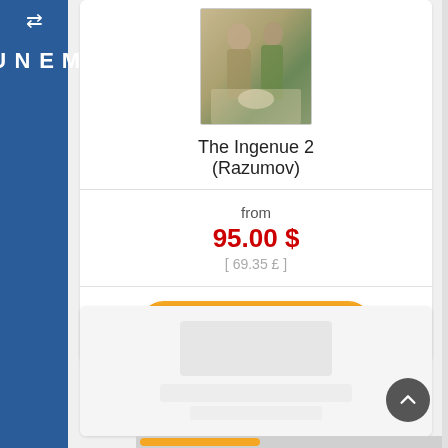MENU
[Figure (illustration): Thumbnail of a painting showing figures, titled The Ingenue 2 by Razumov]
The Ingenue 2 (Razumov)
from
95.00 $
[ 69.35 £ ]
View this Painting
[Figure (illustration): Partial second painting card, mostly blank/loading]